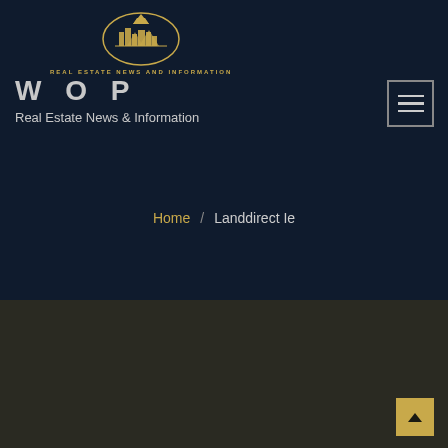[Figure (logo): Real Estate News and Information circular logo with city skyline and mountains, gold colored]
WOP
Real Estate News & Information
[Figure (other): Hamburger menu button with three horizontal lines, outlined box]
Home / Landdirect Ie
[Figure (other): Scroll to top button, gold square with upward arrow]